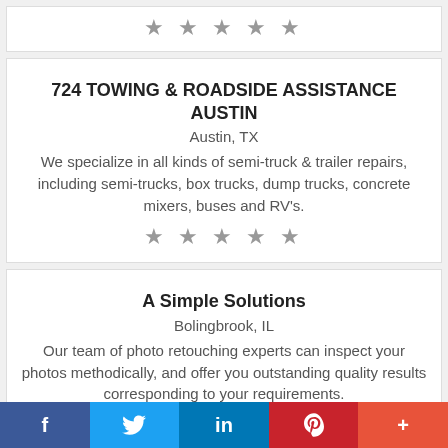[Figure (other): Five star rating icons (gray) at top of page]
724 TOWING & ROADSIDE ASSISTANCE AUSTIN
Austin, TX
We specialize in all kinds of semi-truck & trailer repairs, including semi-trucks, box trucks, dump trucks, concrete mixers, buses and RV's.
[Figure (other): Five star rating icons (gray)]
A Simple Solutions
Bolingbrook, IL
Our team of photo retouching experts can inspect your photos methodically, and offer you outstanding quality results corresponding to your requirements.
[Figure (other): Five star rating icons (gray, partially visible)]
f  [Twitter bird]  in  P  +